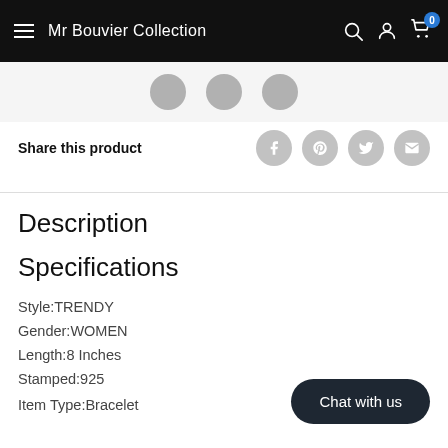Mr Bouvier Collection
[Figure (screenshot): Thumbnail image strip showing three small circular product images]
Share this product
Description
Specifications
Style:TRENDY
Gender:WOMEN
Length:8 Inches
Stamped:925
Chat with us